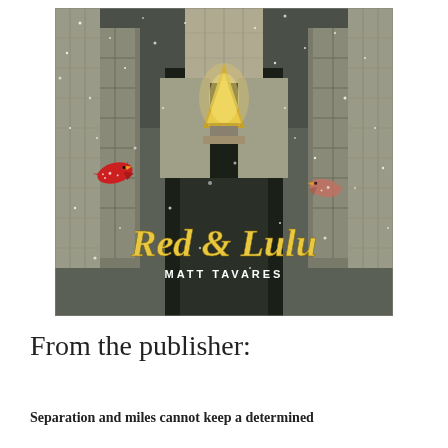[Figure (illustration): Book cover of 'Red & Lulu' by Matt Tavares. Shows an aerial view of Rockefeller Center in New York City during winter with snow falling. A large illuminated Christmas tree stands at center, flanked by tall art deco buildings. Two red cardinal birds are depicted flying near the buildings. The title 'Red & Lulu' is written in large gold italic script at the bottom, with 'MATT TAVARES' in white capital letters below.]
From the publisher:
Separation and miles cannot keep a determined